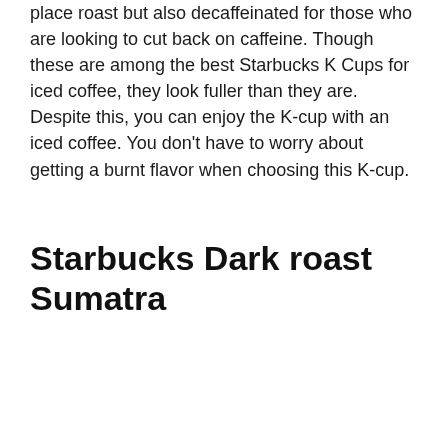place roast but also decaffeinated for those who are looking to cut back on caffeine. Though these are among the best Starbucks K Cups for iced coffee, they look fuller than they are. Despite this, you can enjoy the K-cup with an iced coffee. You don't have to worry about getting a burnt flavor when choosing this K-cup.
Starbucks Dark roast Sumatra